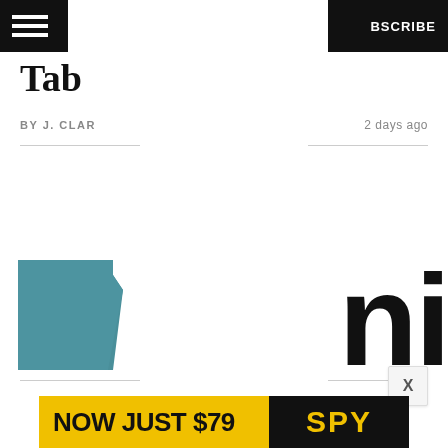billboard SUBSCRIBE
Tab
BY J. CLAR
2 days ago
[Figure (illustration): Teal/blue-grey angular shape resembling a partial book or folder cover, cropped at left edge]
ni
X
[Figure (screenshot): Ad banner at bottom reading NOW JUST $79 with SPY text on dark right panel, yellow background]